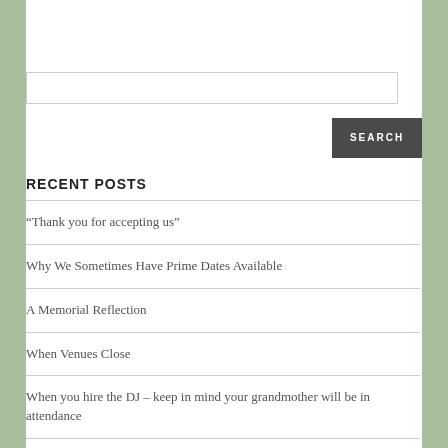RECENT POSTS
“Thank you for accepting us”
Why We Sometimes Have Prime Dates Available
A Memorial Reflection
When Venues Close
When you hire the DJ – keep in mind your grandmother will be in attendance